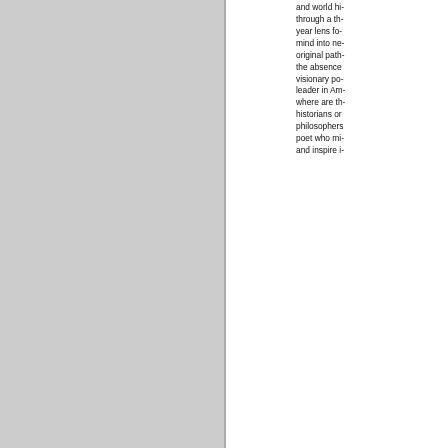and world history through a thousand year lens for the mind into new original paths, the absence of visionary political leader in America, where are the historians or philosophers or poet who might and inspire...
Folder 290
Editor's notes, 1990 and 19... Commenting on memoir manuscript James "Sco... Sr., the book Jonathan Ya... The Washington... writes "For t... who picks u... eager to lea... about you a... various thing... have done...